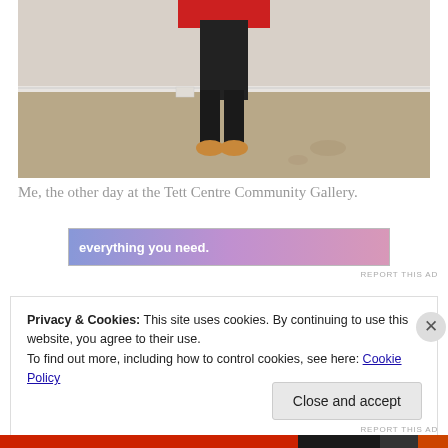[Figure (photo): Photo of a person standing in a gallery space, only legs visible, wearing black pants and tan/brown shoes, on a concrete floor with a white wall in the background]
Me, the other day at the Tett Centre Community Gallery.
[Figure (other): Advertisement banner with gradient blue-purple-pink background, text reads 'everything you need.']
REPORT THIS AD
Privacy & Cookies: This site uses cookies. By continuing to use this website, you agree to their use.
To find out more, including how to control cookies, see here: Cookie Policy
Close and accept